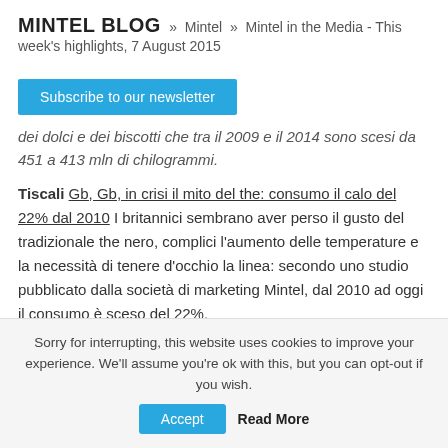MINTEL BLOG » Mintel » Mintel in the Media - This week's highlights, 7 August 2015
[Figure (other): Blue 'Subscribe to our newsletter' button]
dei dolci e dei biscotti che tra il 2009 e il 2014 sono scesi da 451 a 413 mln di chilogrammi.
Tiscali Gb, Gb, in crisi il mito del the: consumo il calo del 22% dal 2010 I britannici sembrano aver perso il gusto del tradizionale the nero, complici l'aumento delle temperature e la necessità di tenere d'occhio la linea: secondo uno studio pubblicato dalla società di marketing Mintel, dal 2010 ad oggi il consumo è sceso del 22%.
Sorry for interrupting, this website uses cookies to improve your experience. We'll assume you're ok with this, but you can opt-out if you wish.